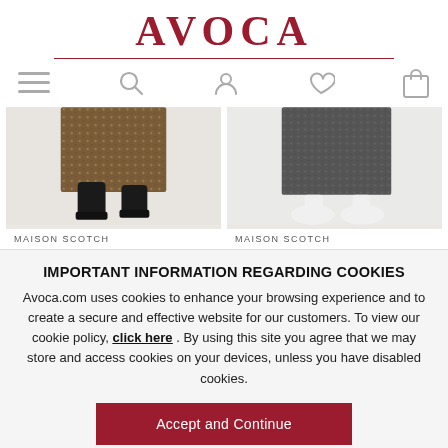AVOCA
[Figure (screenshot): Navigation bar with hamburger menu, search, account, wishlist, and bag icons]
[Figure (photo): Two product images showing Maison Scotch skirts/dresses with shoes]
MAISON SCOTCH
MAISON SCOTCH
IMPORTANT INFORMATION REGARDING COOKIES
Avoca.com uses cookies to enhance your browsing experience and to create a secure and effective website for our customers. To view our cookie policy, click here . By using this site you agree that we may store and access cookies on your devices, unless you have disabled cookies.
Accept and Continue